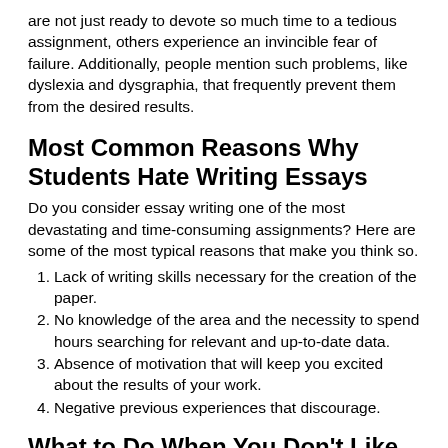are not just ready to devote so much time to a tedious assignment, others experience an invincible fear of failure. Additionally, people mention such problems, like dyslexia and dysgraphia, that frequently prevent them from the desired results.
Most Common Reasons Why Students Hate Writing Essays
Do you consider essay writing one of the most devastating and time-consuming assignments? Here are some of the most typical reasons that make you think so.
Lack of writing skills necessary for the creation of the paper.
No knowledge of the area and the necessity to spend hours searching for relevant and up-to-date data.
Absence of motivation that will keep you excited about the results of your work.
Negative previous experiences that discourage.
What to Do When You Don't Like Writing: Best Solutions to Consider
We should be prepared for every type of assignment. The